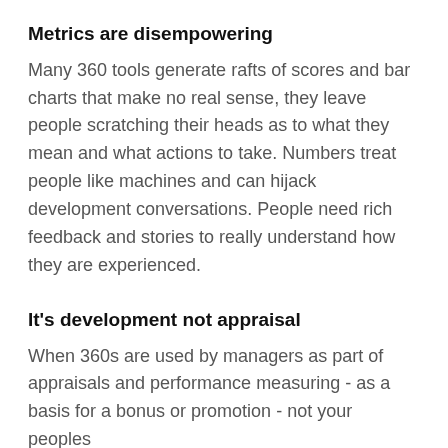Metrics are disempowering
Many 360 tools generate rafts of scores and bar charts that make no real sense, they leave people scratching their heads as to what they mean and what actions to take. Numbers treat people like machines and can hijack development conversations. People need rich feedback and stories to really understand how they are experienced.
It’s development not appraisal
When 360s are used by managers as part of appraisals and performance measuring - as a basis for a bonus or promotion - not your peoples’...